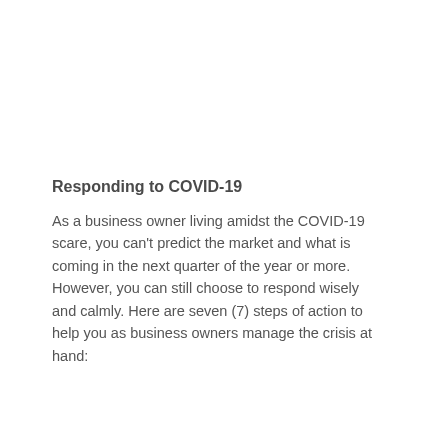Responding to COVID-19
As a business owner living amidst the COVID-19 scare, you can't predict the market and what is coming in the next quarter of the year or more. However, you can still choose to respond wisely and calmly. Here are seven (7) steps of action to help you as business owners manage the crisis at hand: